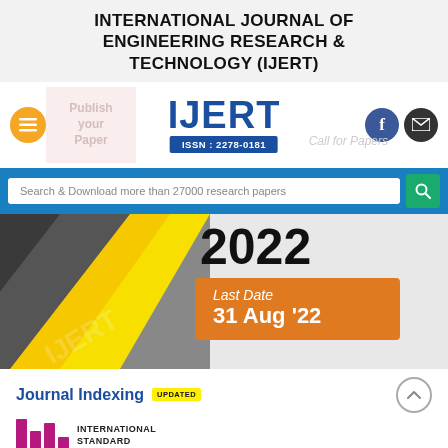INTERNATIONAL JOURNAL OF ENGINEERING RESEARCH & TECHNOLOGY (IJERT)
[Figure (logo): IJERT logo with ISSN: 2278-0181 and Publish your Paper / Call for Papers watermark background]
Search & Download more than 27000 research papers
[Figure (illustration): Banner with dark grey and yellow diagonal stripes, year 2022, Last Date 31 Aug '22 on orange box with IJERT watermark]
Journal Indexing UPDATED
[Figure (logo): ISSN logo with pink/maroon bars and INTERNATIONAL STANDARD text]